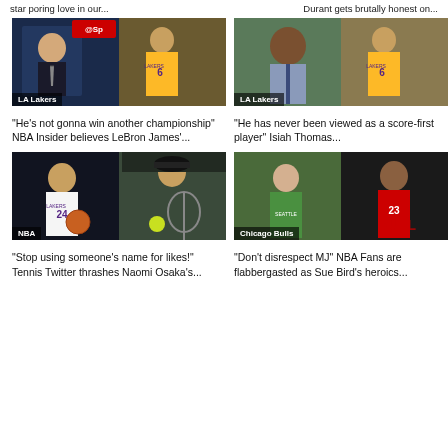star poring love in our...
Durant gets brutally honest on...
[Figure (photo): ESPN anchor and LeBron James in Lakers jersey #6 collage, labeled LA Lakers]
“He’s not gonna win another championship” NBA Insider believes LeBron James’...
[Figure (photo): Isiah Thomas smiling and LeBron James in Lakers jersey #6, labeled LA Lakers]
“He has never been viewed as a score-first player” Isiah Thomas...
[Figure (photo): Kobe Bryant in Lakers #24 and Naomi Osaka tennis collage, labeled NBA]
“Stop using someone’s name for likes!” Tennis Twitter thrashes Naomi Osaka’s...
[Figure (photo): Sue Bird in Seattle jersey and Michael Jordan in Chicago Bulls jersey, labeled Chicago Bulls]
“Don’t disrespect MJ” NBA Fans are flabbergasted as Sue Bird’s heroics...